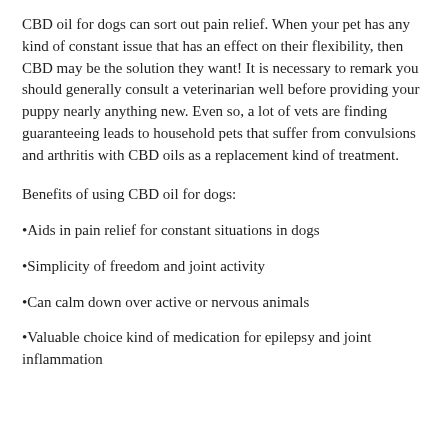CBD oil for dogs can sort out pain relief. When your pet has any kind of constant issue that has an effect on their flexibility, then CBD may be the solution they want! It is necessary to remark you should generally consult a veterinarian well before providing your puppy nearly anything new. Even so, a lot of vets are finding guaranteeing leads to household pets that suffer from convulsions and arthritis with CBD oils as a replacement kind of treatment.
Benefits of using CBD oil for dogs:
•Aids in pain relief for constant situations in dogs
•Simplicity of freedom and joint activity
•Can calm down over active or nervous animals
•Valuable choice kind of medication for epilepsy and joint inflammation